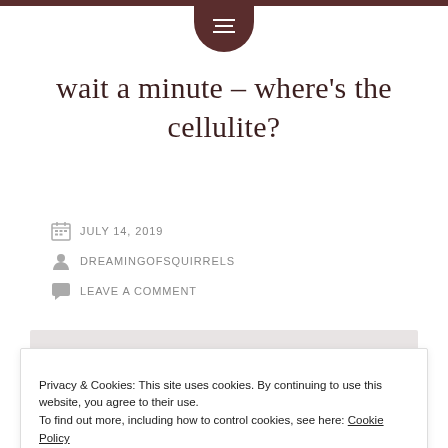menu icon / navigation button
wait a minute – where's the cellulite?
JULY 14, 2019
DREAMINGOFSQUIRRELS
LEAVE A COMMENT
[Figure (photo): Food photo partially visible at bottom, showing baked/fried food with orange-brown color]
Privacy & Cookies: This site uses cookies. By continuing to use this website, you agree to their use.
To find out more, including how to control cookies, see here: Cookie Policy
Close and accept